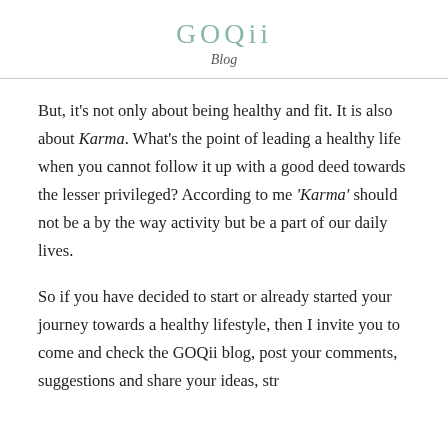GOQii
Blog
But, it’s not only about being healthy and fit. It is also about Karma. What’s the point of leading a healthy life when you cannot follow it up with a good deed towards the lesser privileged? According to me ‘Karma’ should not be a by the way activity but be a part of our daily lives.
So if you have decided to start or already started your journey towards a healthy lifestyle, then I invite you to come and check the GOQii blog, post your comments, suggestions and share your ideas, str...